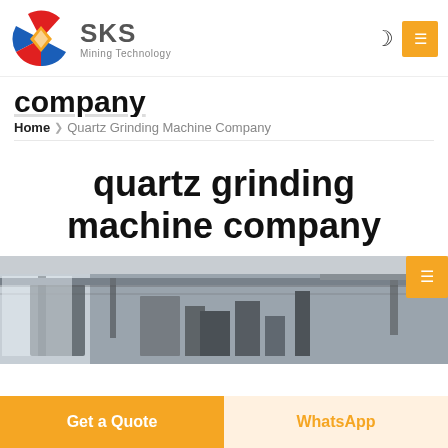[Figure (logo): SKS Mining Technology logo — circular icon with red/blue/yellow and company name]
company
Home › Quartz Grinding Machine Company
quartz grinding machine company
[Figure (photo): Industrial factory interior with large grinding machinery and steel structure]
Get a Quote
WhatsApp